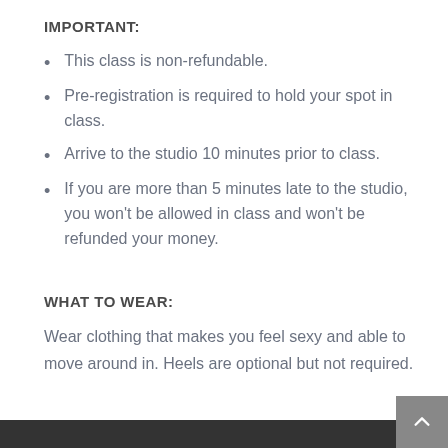IMPORTANT:
This class is non-refundable.
Pre-registration is required to hold your spot in class.
Arrive to the studio 10 minutes prior to class.
If you are more than 5 minutes late to the studio, you won't be allowed in class and won't be refunded your money.
WHAT TO WEAR:
Wear clothing that makes you feel sexy and able to move around in. Heels are optional but not required.